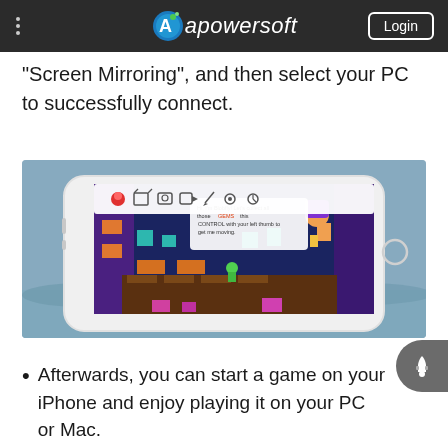Apowersoft — Login
“Screen Mirroring”, and then select your PC to successfully connect.
[Figure (screenshot): Screenshot of Apowersoft screen mirroring software showing a mobile phone with a platform game displayed on screen, with a toolbar overlay at the top of the phone screen.]
Afterwards, you can start a game on your iPhone and enjoy playing it on your PC or Mac.